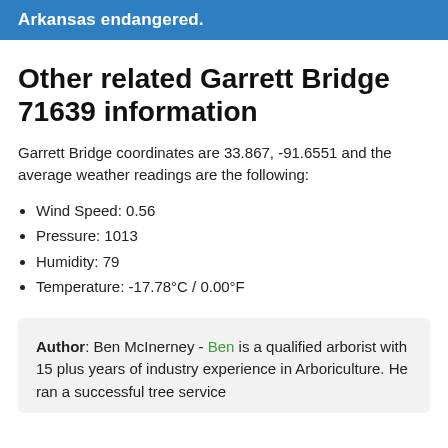Arkansas endangered.
Other related Garrett Bridge 71639 information
Garrett Bridge coordinates are 33.867, -91.6551 and the average weather readings are the following:
Wind Speed: 0.56
Pressure: 1013
Humidity: 79
Temperature: -17.78°C / 0.00°F
Author: Ben McInerney - Ben is a qualified arborist with 15 plus years of industry experience in Arboriculture. He ran a successful tree service